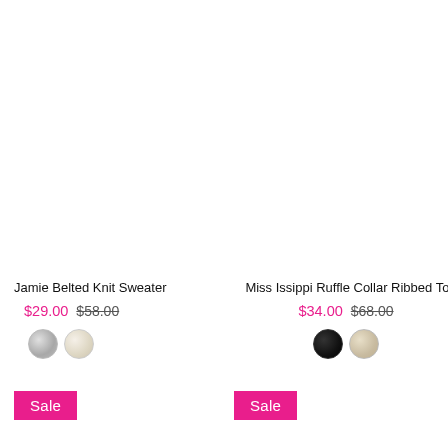Jamie Belted Knit Sweater
$29.00  $58.00
[Figure (illustration): Two color swatches: silver/grey and cream for Jamie Belted Knit Sweater]
Sale
Miss Issippi Ruffle Collar Ribbed Top
$34.00  $68.00
[Figure (illustration): Two color swatches: black and beige/tan for Miss Issippi Ruffle Collar Ribbed Top]
Sale